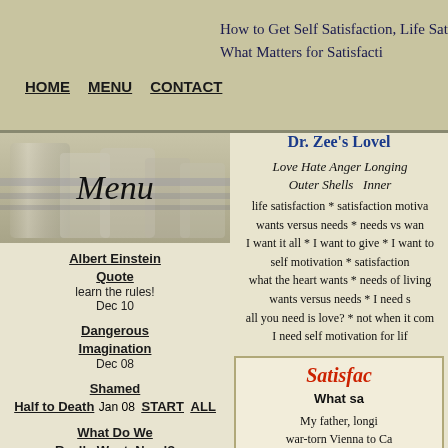How to Get Self Satisfaction, Life Satisfaction, Se... What Matters for Satisfacti...
HOME  MENU  CONTACT
[Figure (photo): Menu header image with glass/crystal objects and cursive 'Menu' text]
Albert Einstein Quote
learn the rules!
Dec 10
Dangerous Imagination
Dec 08
Shamed Half to Death
Jan 08  START  ALL
What Do We Really Want, Need?
Sad Blank Faces
Wants vs Needs
Self Satisfaction
The Words Say It All
July 07, Dec 08
Dr. Zee's Lovel...
Love Hate Anger Longing
Outer Shells   Inner...
life satisfaction * satisfaction motiva...
wants versus needs * needs vs wan...
I want it all * I want to give * I want to...
self motivation * satisfaction...
what the heart wants * needs of living...
wants versus needs * I need s...
all you need is love? * not when it com...
I need self motivation for lif...
Satisfac...
What sa...
My father, longi... war-torn Vienna to Ca... this for decades, and... cowboys and buckin...